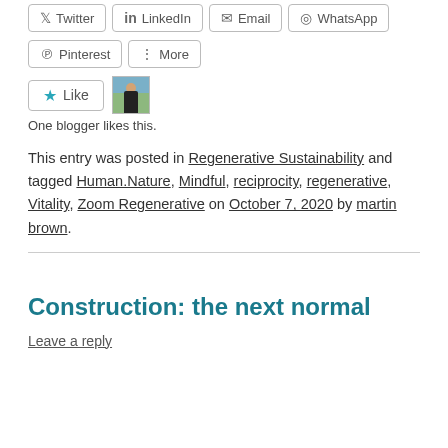[Figure (other): Social share buttons: Twitter, LinkedIn, Email, WhatsApp, Pinterest, More]
[Figure (other): Like button with star icon and a blogger avatar thumbnail. Text: One blogger likes this.]
This entry was posted in Regenerative Sustainability and tagged Human.Nature, Mindful, reciprocity, regenerative, Vitality, Zoom Regenerative on October 7, 2020 by martin brown.
Construction: the next normal
Leave a reply